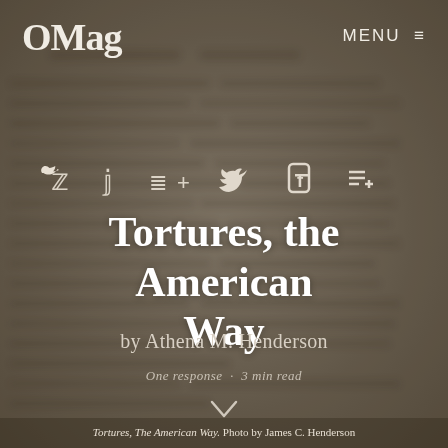[Figure (photo): Blurred sepia-toned background photograph showing printed text/newspaper, used as the full-page background image for the article header.]
OMag   MENU ≡
[Figure (infographic): Social sharing icons: Twitter bird icon, Facebook 'f' icon, and a reading list/add icon (≡+)]
Tortures, the American Way
by Athena M. Henderson
One response · 3 min read
Tortures, The American Way. Photo by James C. Henderson